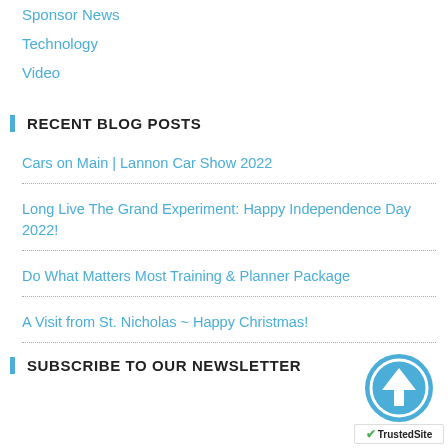Sponsor News
Technology
Video
RECENT BLOG POSTS
Cars on Main | Lannon Car Show 2022
Long Live The Grand Experiment: Happy Independence Day 2022!
Do What Matters Most Training & Planner Package
A Visit from St. Nicholas ~ Happy Christmas!
SUBSCRIBE TO OUR NEWSLETTER
[Figure (logo): TrustedSite badge with upward arrow icon and TrustedSite text]